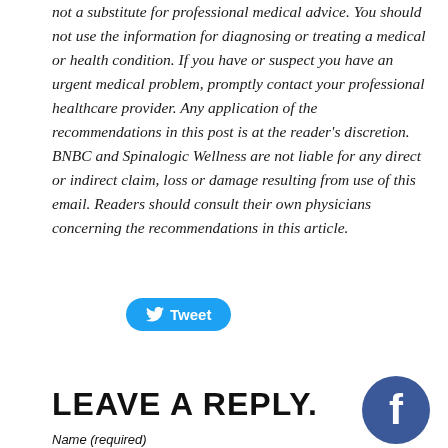not a substitute for professional medical advice. You should not use the information for diagnosing or treating a medical or health condition. If you have or suspect you have an urgent medical problem, promptly contact your professional healthcare provider. Any application of the recommendations in this post is at the reader's discretion. BNBC and Spinalogic Wellness are not liable for any direct or indirect claim, loss or damage resulting from use of this email. Readers should consult their own physicians concerning the recommendations in this article.
[Figure (other): Twitter Tweet button — rounded blue button with bird icon and 'Tweet' text]
LEAVE A REPLY.
[Figure (logo): Facebook logo — circular dark blue button with white 'f' letter]
Name (required)